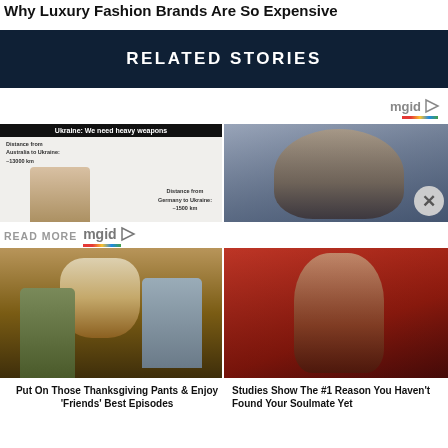Why Luxury Fashion Brands Are So Expensive
RELATED STORIES
[Figure (photo): mgid logo with colorful underline bar and play triangle icon]
[Figure (photo): Ukraine meme: 'Ukraine: We need heavy weapons' with dog meme showing distances from Australia and Germany to Ukraine]
[Figure (photo): Close-up photo of a dark-haired woman smiling]
READ MORE
[Figure (photo): mgid logo with play triangle icon]
[Figure (photo): Still from Friends TV show with person wearing turkey on head]
Put On Those Thanksgiving Pants & Enjoy 'Friends' Best Episodes
[Figure (photo): Woman with short dark hair wearing red dress, side profile]
Studies Show The #1 Reason You Haven't Found Your Soulmate Yet